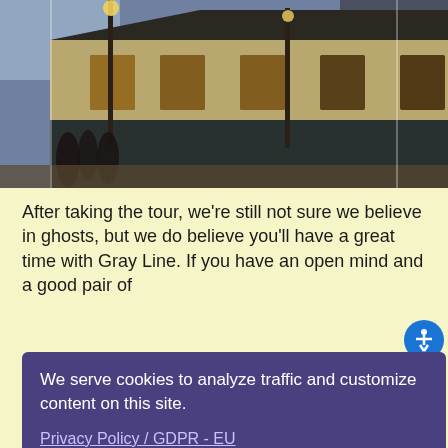[Figure (photo): Exterior photograph of a historic wooden building at dusk/dawn with street lamps lit, appears to be a tourist or transit building in New Orleans French Quarter area. Yellow signboards visible on right side.]
After taking the tour, we're still not sure we believe in ghosts, but we do believe you'll have a great time with Gray Line. If you have an open mind and a good pair of walking shoes, recommend from Ghosts & Spirits Walking [tour]... the Gray Line... Quarter at the... and more
We serve cookies to analyze traffic and customize content on this site.

Privacy Policy / GDPR - EU

Got it!
>>Get a Gray Line Coupon<<